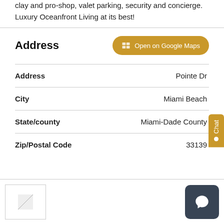clay and pro-shop, valet parking, security and concierge. Luxury Oceanfront Living at its best!
Address
| Field | Value |
| --- | --- |
| Address | Pointe Dr |
| City | Miami Beach |
| State/county | Miami-Dade County |
| Zip/Postal Code | 33139 |